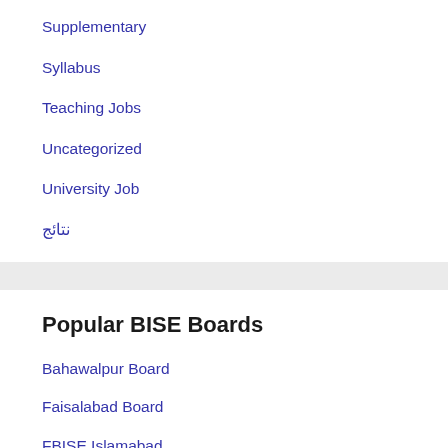Supplementary
Syllabus
Teaching Jobs
Uncategorized
University Job
نتائج
Popular BISE Boards
Bahawalpur Board
Faisalabad Board
FBISE Islamabad